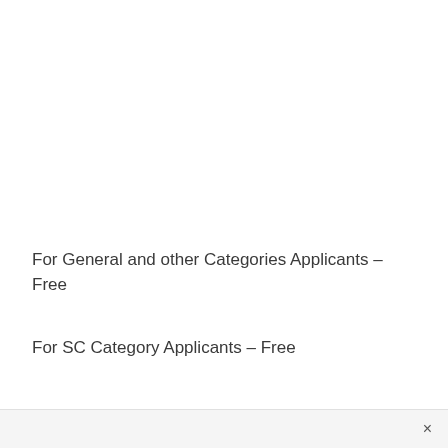For General and other Categories Applicants – Free
For SC Category Applicants – Free